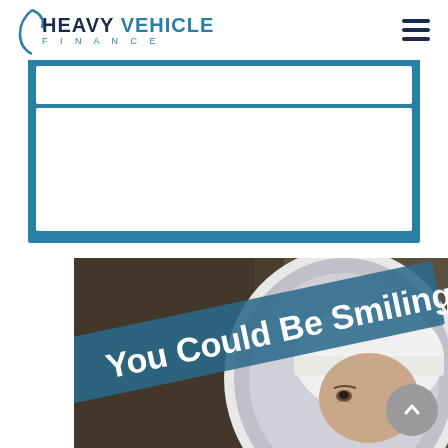HEAVY VEHICLE FINANCE
[Figure (screenshot): Heavy Vehicle Finance website screenshot showing logo, hamburger menu, search/form area with blue border, and a photo of a worker wearing a white hard hat near large tires with 'You Could Be Smiling' text overlay on a diagonal blue banner]
You Could Be Smiling